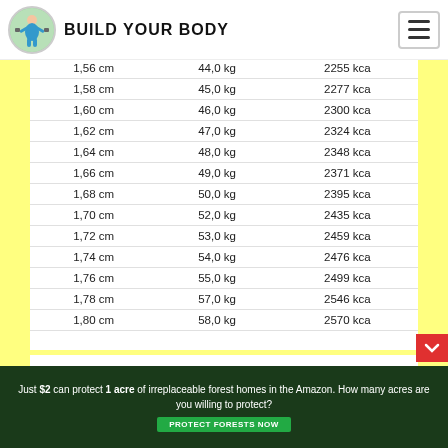BUILD YOUR BODY
| Height | Weight | Calories |
| --- | --- | --- |
| 1,56 cm | 44,0 kg | 2255 kca |
| 1,58 cm | 45,0 kg | 2277 kca |
| 1,60 cm | 46,0 kg | 2300 kca |
| 1,62 cm | 47,0 kg | 2324 kca |
| 1,64 cm | 48,0 kg | 2348 kca |
| 1,66 cm | 49,0 kg | 2371 kca |
| 1,68 cm | 50,0 kg | 2395 kca |
| 1,70 cm | 52,0 kg | 2435 kca |
| 1,72 cm | 53,0 kg | 2459 kca |
| 1,74 cm | 54,0 kg | 2476 kca |
| 1,76 cm | 55,0 kg | 2499 kca |
| 1,78 cm | 57,0 kg | 2546 kca |
| 1,80 cm | 58,0 kg | 2570 kca |
[Figure (photo): A digital bathroom scale]
Just $2 can protect 1 acre of irreplaceable forest homes in the Amazon. How many acres are you willing to protect?